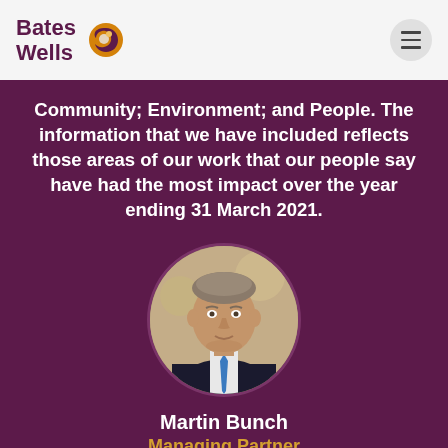[Figure (logo): Bates Wells logo with text and circular icon]
Community; Environment; and People. The information that we have included reflects those areas of our work that our people say have had the most impact over the year ending 31 March 2021.
[Figure (photo): Circular portrait photo of Martin Bunch, a middle-aged man in a dark suit with a blue tie]
Martin Bunch
Managing Partner